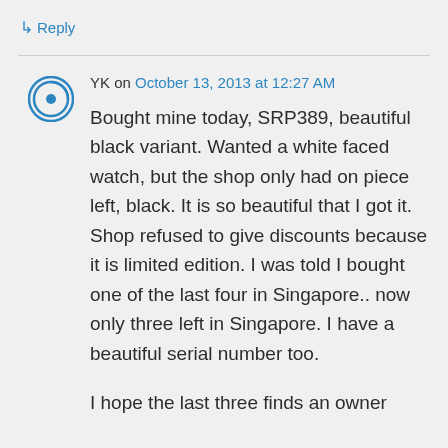↳ Reply
YK on October 13, 2013 at 12:27 AM
Bought mine today, SRP389, beautiful black variant. Wanted a white faced watch, but the shop only had on piece left, black. It is so beautiful that I got it. Shop refused to give discounts because it is limited edition. I was told I bought one of the last four in Singapore.. now only three left in Singapore. I have a beautiful serial number too.
I hope the last three finds an owner